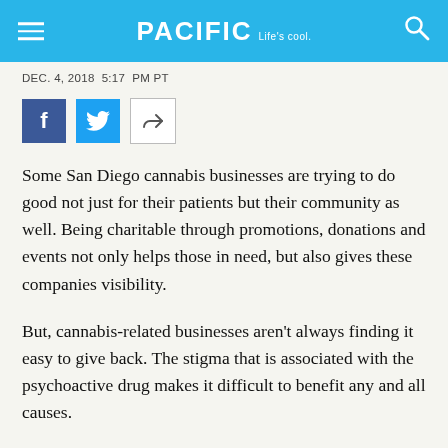PACIFIC Life's cool.
DEC. 4, 2018  5:17  PM PT
[Figure (other): Social sharing buttons: Facebook, Twitter, and a generic share icon]
Some San Diego cannabis businesses are trying to do good not just for their patients but their community as well. Being charitable through promotions, donations and events not only helps those in need, but also gives these companies visibility.
But, cannabis-related businesses aren’t always finding it easy to give back. The stigma that is associated with the psychoactive drug makes it difficult to benefit any and all causes.